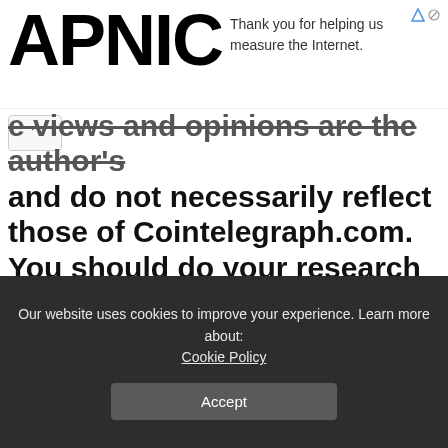APNIC | Thank you for helping us measure the Internet.
e views and opinions are the author's and do not necessarily reflect those of Cointelegraph.com. You should do your research before making any investment or trading decision.
Jon | August 19, 2022
[Figure (continuous-plot): Candlestick chart from TradingView.com, Aug 12, 2022 12:44 UTC. U.S. Dollar, 1h, BNA:KE. D1372.04 H1394.87 L1368.48 C1379.74 +9.77 (-0.52%). Shows upward price movement with red and green candlesticks.]
Our website uses cookies to improve your experience. Learn more about: Cookie Policy
Accept